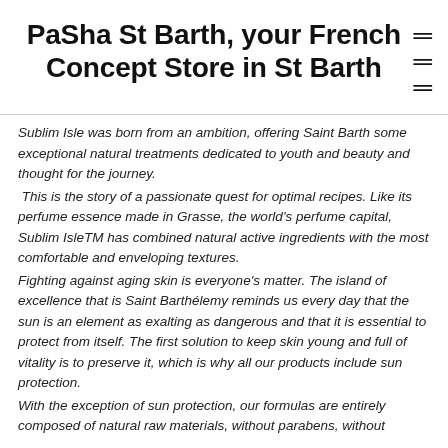PaSha St Barth, your French Concept Store in St Barth
Sublim Isle was born from an ambition, offering Saint Barth some exceptional natural treatments dedicated to youth and beauty and thought for the journey.
 This is the story of a passionate quest for optimal recipes. Like its perfume essence made in Grasse, the world's perfume capital, Sublim IsleTM has combined natural active ingredients with the most comfortable and enveloping textures.
Fighting against aging skin is everyone's matter. The island of excellence that is Saint Barthélemy reminds us every day that the sun is an element as exalting as dangerous and that it is essential to protect from itself. The first solution to keep skin young and full of vitality is to preserve it, which is why all our products include sun protection.
With the exception of sun protection, our formulas are entirely composed of natural raw materials, without parabens, without